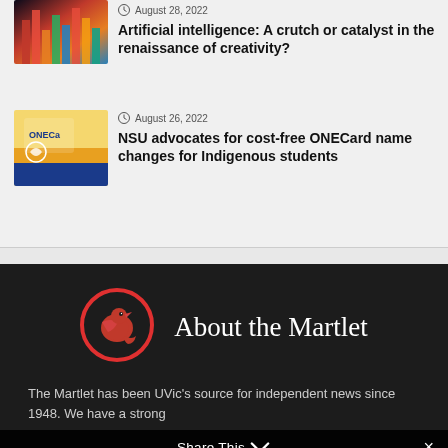[Figure (photo): Colorful AI-generated abstract art image with city-like vertical forms in red, orange, green, and blue]
August 28, 2022
Artificial intelligence: A crutch or catalyst in the renaissance of creativity?
[Figure (photo): ONECard student ID card with a bird logo on yellow, blue and orange striped background]
August 26, 2022
NSU advocates for cost-free ONECard name changes for Indigenous students
[Figure (logo): The Martlet logo — red bird in a red circle on dark background]
About the Martlet
The Martlet has been UVic's source for independent news since 1948. We have a strong
Share This ∨ ✕